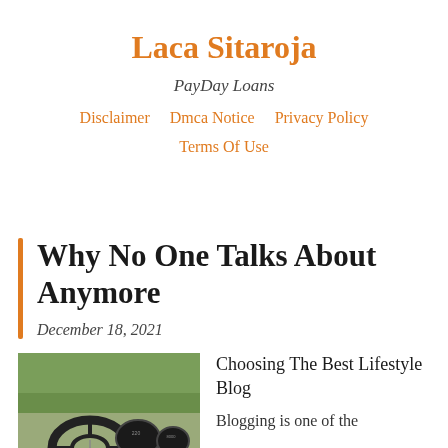Laca Sitaroja
PayDay Loans
Disclaimer   Dmca Notice   Privacy Policy   Terms Of Use
Why No One Talks About Anymore
December 18, 2021
[Figure (photo): Person holding a car steering wheel, interior view of a luxury car dashboard]
Choosing The Best Lifestyle Blog
Blogging is one of the